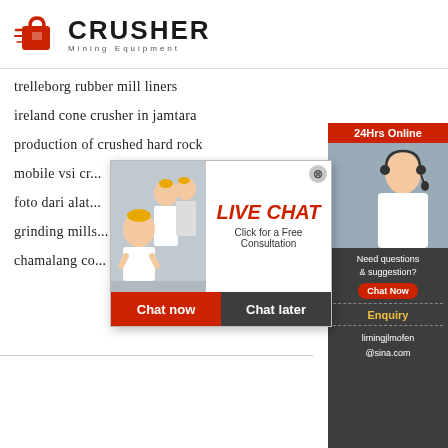[Figure (logo): Crusher Mining Equipment logo with red shopping bag icon and bold CRUSHER text]
trelleborg rubber mill liners
ireland cone crusher in jamtara
production of crushed hard rock
mobile vsi cr...
foto dari alat...
grinding mills...
chamalang co...
[Figure (infographic): Live Chat popup overlay with workers in hard hats, LIVE CHAT heading, Click for a Free Consultation text, Chat now and Chat later buttons]
[Figure (infographic): Sidebar panel with 24Hrs Online header, customer service agent photo, Need questions & suggestion? text, Chat Now button, Enquiry link, limingjlmofen@sina.com email]